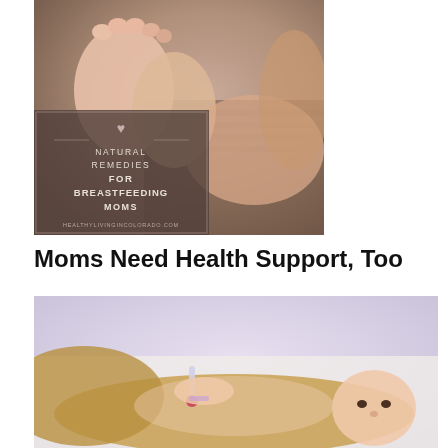[Figure (photo): Close-up photo of newborn baby feet being held by adult hands, with a semi-transparent overlay box containing text 'Natural Remedies for Breastfeeding Moms' and website 'healthylivingincolorado.com']
Moms Need Health Support, Too
[Figure (photo): Photo of a woman lying down, appearing to be resting or unwell, holding a thermometer, on a light purple/lavender background]